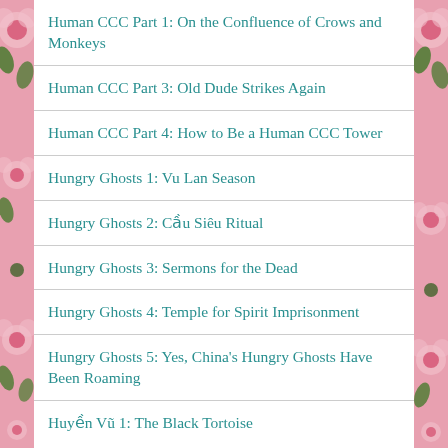Human CCC Part 1: On the Confluence of Crows and Monkeys
Human CCC Part 3: Old Dude Strikes Again
Human CCC Part 4: How to Be a Human CCC Tower
Hungry Ghosts 1: Vu Lan Season
Hungry Ghosts 2: Cầu Siêu Ritual
Hungry Ghosts 3: Sermons for the Dead
Hungry Ghosts 4: Temple for Spirit Imprisonment
Hungry Ghosts 5: Yes, China's Hungry Ghosts Have Been Roaming
Huyền Vũ 1: The Black Tortoise